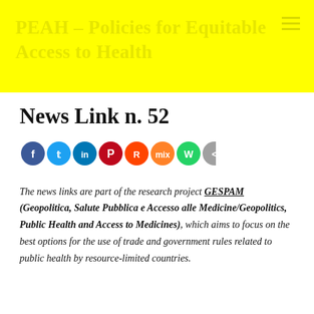PEAH – Policies for Equitable Access to Health
News Link n. 52
[Figure (infographic): Row of social media sharing icons: Facebook (blue), Twitter (light blue), LinkedIn (dark blue), Pinterest (red), Reddit (orange-red), Mix (orange), WhatsApp (green), Share (gray)]
The news links are part of the research project GESPAM (Geopolitica, Salute Pubblica e Accesso alle Medicine/Geopolitics, Public Health and Access to Medicines), which aims to focus on the best options for the use of trade and government rules related to public health by resource-limited countries.